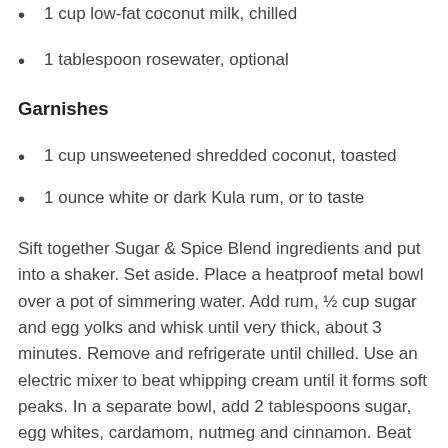1 cup low-fat coconut milk, chilled
1 tablespoon rosewater, optional
Garnishes
1 cup unsweetened shredded coconut, toasted
1 ounce white or dark Kula rum, or to taste
Sift together Sugar & Spice Blend ingredients and put into a shaker. Set aside. Place a heatproof metal bowl over a pot of simmering water. Add rum, ½ cup sugar and egg yolks and whisk until very thick, about 3 minutes. Remove and refrigerate until chilled. Use an electric mixer to beat whipping cream until it forms soft peaks. In a separate bowl, add 2 tablespoons sugar, egg whites, cardamom, nutmeg and cinnamon. Beat until it forms soft peaks. Using a rubber spatula, gently combine egg-yolk and egg-white mixtures,